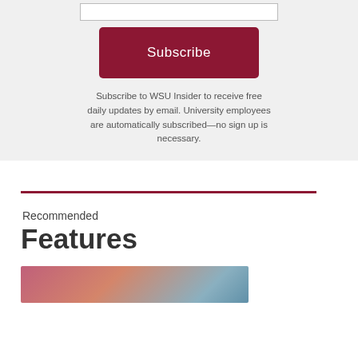[Figure (other): Email input text field (form element, empty)]
[Figure (other): Subscribe button — dark crimson/maroon rounded rectangle with white text 'Subscribe']
Subscribe to WSU Insider to receive free daily updates by email. University employees are automatically subscribed—no sign up is necessary.
Recommended
Features
[Figure (photo): Partial photo strip showing people, cropped at bottom of page]